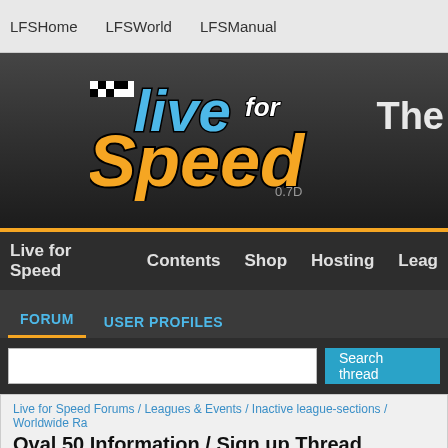LFSHome   LFSWorld   LFSManual
[Figure (logo): Live for Speed game logo with checkered flag icon, blue 'live', white 'for', orange 'Speed' text, version 0.7D, on dark gradient background. Partial 'The' text on right.]
Live for Speed   Contents   Shop   Hosting   Leag
FORUM   USER PROFILES
Search thread (input field)
Live for Speed Forums / Leagues & Events / Inactive league-sections / Worldwide Ra
Oval 50 Information / Sign up Thread
(57 posts, closed, started Wed 14 Dec 2011, 3:13)
#26